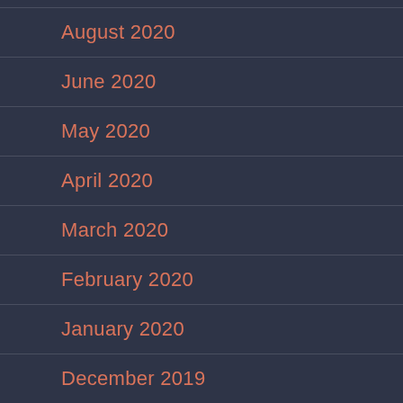August 2020
June 2020
May 2020
April 2020
March 2020
February 2020
January 2020
December 2019
October 2019
September 2019